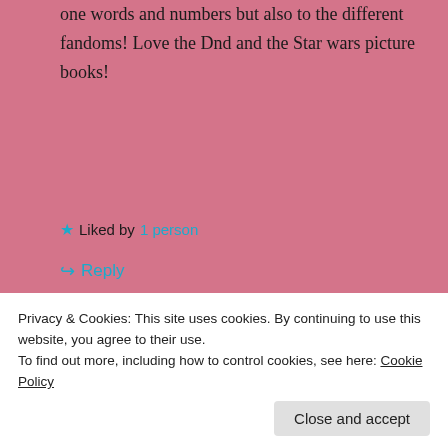one words and numbers but also to the different fandoms! Love the Dnd and the Star wars picture books!
★ Liked by 1 person
↳ Reply
wittysarcasticbookclub
Privacy & Cookies: This site uses cookies. By continuing to use this website, you agree to their use.
To find out more, including how to control cookies, see here: Cookie Policy
Close and accept
↳ Reply